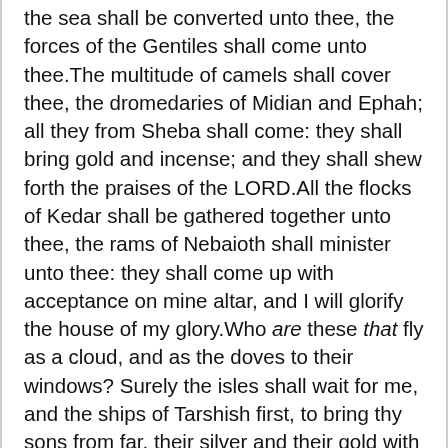the sea shall be converted unto thee, the forces of the Gentiles shall come unto thee.The multitude of camels shall cover thee, the dromedaries of Midian and Ephah; all they from Sheba shall come: they shall bring gold and incense; and they shall shew forth the praises of the LORD.All the flocks of Kedar shall be gathered together unto thee, the rams of Nebaioth shall minister unto thee: they shall come up with acceptance on mine altar, and I will glorify the house of my glory.Who are these that fly as a cloud, and as the doves to their windows? Surely the isles shall wait for me, and the ships of Tarshish first, to bring thy sons from far, their silver and their gold with them, unto the name of the LORD thy God, and to the Holy One of Israel, because he hath glorified thee.And the sons of strangers shall build up thy walls, and their kings shall minister unto thee: for in my wrath I smote thee, but in my favour have I had mercy on thee.Therefore thy gates shall be open continually; they shall not be shut day nor night; that men may bring unto thee the forces of the Gentiles, and that their kings may be brought.For the nation and